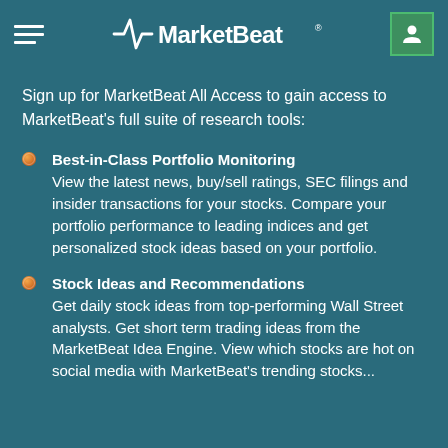MarketBeat
Sign up for MarketBeat All Access to gain access to MarketBeat's full suite of research tools:
Best-in-Class Portfolio Monitoring
View the latest news, buy/sell ratings, SEC filings and insider transactions for your stocks. Compare your portfolio performance to leading indices and get personalized stock ideas based on your portfolio.
Stock Ideas and Recommendations
Get daily stock ideas from top-performing Wall Street analysts. Get short term trading ideas from the MarketBeat Idea Engine. View which stocks are hot on social media with MarketBeat's trending stocks...